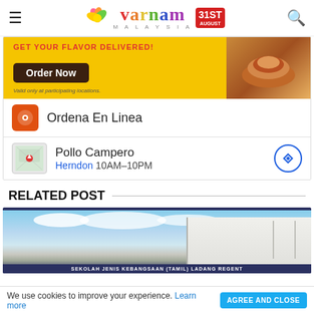Varnam Malaysia — navigation header with hamburger menu, logo, and search icon
[Figure (screenshot): Advertisement banner: 'GET YOUR FLAVOR DELIVERED!' with 'Order Now' button and food image on yellow background. Below: Ordena En Linea row with orange icon. Below: Pollo Campero Herndon 10AM-10PM with map thumbnail and direction button.]
RELATED POST
[Figure (photo): Exterior photo of Sekolah Jenis Kebangsaan (Tamil) Ladang Regent school building with blue sky]
We use cookies to improve your experience. Learn more
AGREE AND CLOSE